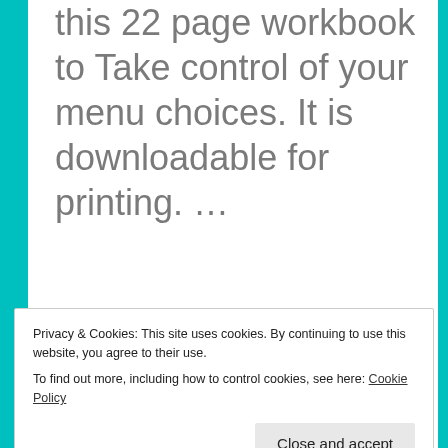this 22 page workbook to Take control of your menu choices. It is downloadable for printing. …
Share this:
Privacy & Cookies: This site uses cookies. By continuing to use this website, you agree to their use.
To find out more, including how to control cookies, see here: Cookie Policy